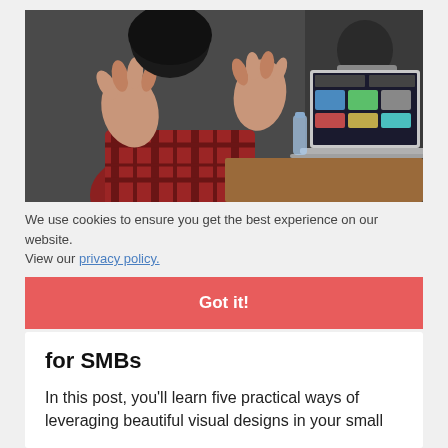[Figure (photo): A person with hands raised gesturing during a meeting, with a laptop displaying a UI design on the screen visible in the background. The person is wearing a plaid shirt.]
We use cookies to ensure you get the best experience on our website. View our privacy policy.
Got it!
for SMBs
In this post, you'll learn five practical ways of leveraging beautiful visual designs in your small